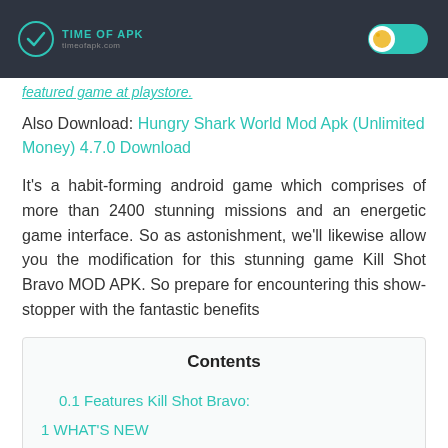TIME OF APK
featured game at playstore.
Also Download: Hungry Shark World Mod Apk (Unlimited Money) 4.7.0 Download
It's a habit-forming android game which comprises of more than 2400 stunning missions and an energetic game interface. So as astonishment, we'll likewise allow you the modification for this stunning game Kill Shot Bravo MOD APK. So prepare for encountering this show-stopper with the fantastic benefits
Contents
0.1 Features Kill Shot Bravo:
1 WHAT'S NEW
1.1 How to Become a Pro Player In Kill Shot Bravo Latest Version?
1.2 Also install these glory then don't to fight with G...